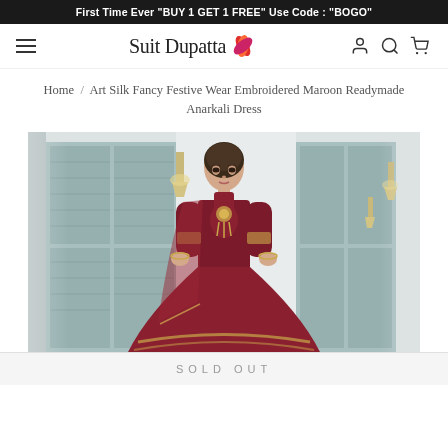First Time Ever "BUY 1 GET 1 FREE" Use Code : "BOGO"
[Figure (logo): Suit Dupatta logo with decorative leaf/fan icon]
Home / Art Silk Fancy Festive Wear Embroidered Maroon Readymade Anarkali Dress
[Figure (photo): Model wearing a maroon embroidered Anarkali dress with dupatta, standing in front of teal shuttered doors]
SOLD OUT